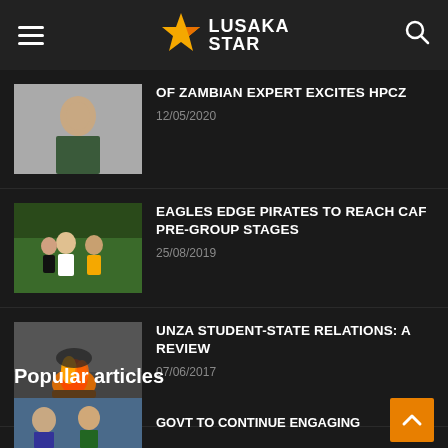Lusaka Star
OF ZAMBIAN EXPERT EXCITES HPCZ
12/05/2020
[Figure (photo): Portrait photo of a man in a suit]
EAGLES EDGE PIRATES TO REACH CAF PRE-GROUP STAGES
25/08/2019
[Figure (photo): Football players in action during a match]
UNZA STUDENT-STATE RELATIONS: A REVIEW
07/06/2017
[Figure (photo): Burning object on a road, protest scene]
Popular articles
GOVT TO CONTINUE ENGAGING
[Figure (photo): Thumbnail photo for popular article]